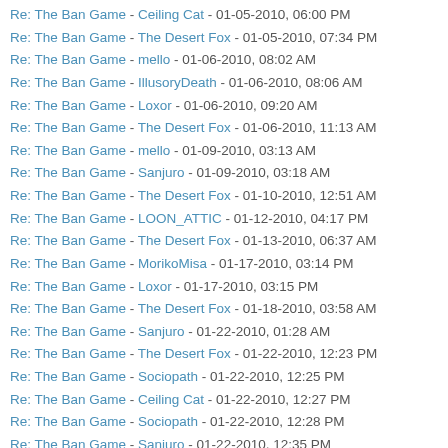Re: The Ban Game - Ceiling Cat - 01-05-2010, 06:00 PM
Re: The Ban Game - The Desert Fox - 01-05-2010, 07:34 PM
Re: The Ban Game - mello - 01-06-2010, 08:02 AM
Re: The Ban Game - IllusoryDeath - 01-06-2010, 08:06 AM
Re: The Ban Game - Loxor - 01-06-2010, 09:20 AM
Re: The Ban Game - The Desert Fox - 01-06-2010, 11:13 AM
Re: The Ban Game - mello - 01-09-2010, 03:13 AM
Re: The Ban Game - Sanjuro - 01-09-2010, 03:18 AM
Re: The Ban Game - The Desert Fox - 01-10-2010, 12:51 AM
Re: The Ban Game - LOON_ATTIC - 01-12-2010, 04:17 PM
Re: The Ban Game - The Desert Fox - 01-13-2010, 06:37 AM
Re: The Ban Game - MorikoMisa - 01-17-2010, 03:14 PM
Re: The Ban Game - Loxor - 01-17-2010, 03:15 PM
Re: The Ban Game - The Desert Fox - 01-18-2010, 03:58 AM
Re: The Ban Game - Sanjuro - 01-22-2010, 01:28 AM
Re: The Ban Game - The Desert Fox - 01-22-2010, 12:23 PM
Re: The Ban Game - Sociopath - 01-22-2010, 12:25 PM
Re: The Ban Game - Ceiling Cat - 01-22-2010, 12:27 PM
Re: The Ban Game - Sociopath - 01-22-2010, 12:28 PM
Re: The Ban Game - Sanjuro - 01-22-2010, 12:35 PM
Re: The Ban Game - Sociopath - 01-22-2010, 12:38 PM
Re: The Ban Game - The Desert Fox - 01-22-2010, 12:51 PM
Re: The Ban Game - Rentorian - 01-22-2010, 12:52 PM